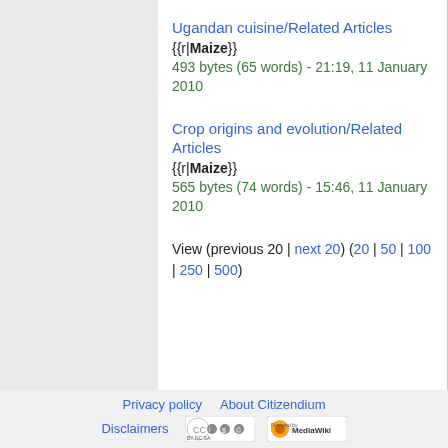Ugandan cuisine/Related Articles
{{r|Maize}}
493 bytes (65 words) - 21:19, 11 January 2010
Crop origins and evolution/Related Articles
{{r|Maize}}
565 bytes (74 words) - 15:46, 11 January 2010
View (previous 20 | next 20) (20 | 50 | 100 | 250 | 500)
Privacy policy   About Citizendium   Disclaimers